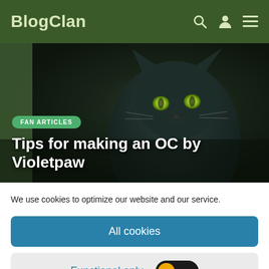BlogClan
[Figure (photo): Dark blue-grey cat with green eyes looking at the camera, used as hero background image for a blog article]
FAN ARTICLES
Tips for making an OC by Violetpaw
We use cookies to optimize our website and our service.
All cookies
Functional only